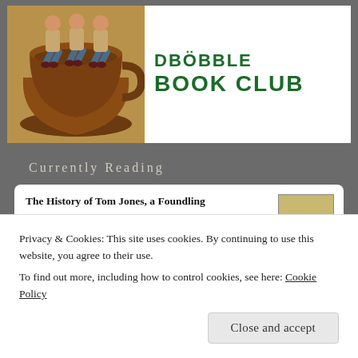[Figure (illustration): Book club banner with illustration of people sitting in a large teacup on the left, and green bold text 'BOOK CLUB' on the right]
Currently Reading
The History of Tom Jones, a Foundling
by Henry Fielding
Rumi's Little Book of Life: The Garden of the
Privacy & Cookies: This site uses cookies. By continuing to use this website, you agree to their use.
To find out more, including how to control cookies, see here: Cookie Policy
Close and accept